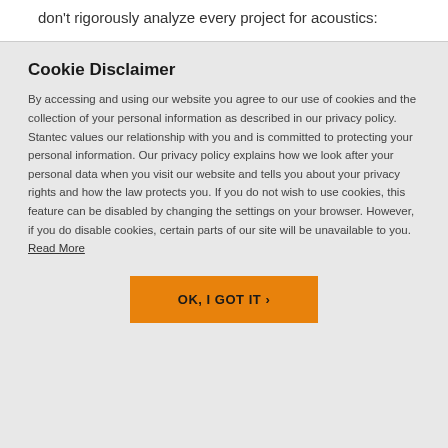standard on every project. There's a big reason we don't rigorously analyze every project for acoustics:
Cookie Disclaimer
By accessing and using our website you agree to our use of cookies and the collection of your personal information as described in our privacy policy. Stantec values our relationship with you and is committed to protecting your personal information. Our privacy policy explains how we look after your personal data when you visit our website and tells you about your privacy rights and how the law protects you. If you do not wish to use cookies, this feature can be disabled by changing the settings on your browser. However, if you do disable cookies, certain parts of our site will be unavailable to you. Read More
OK, I GOT IT ›